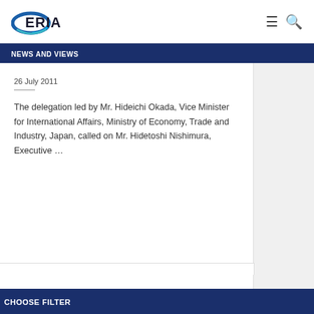[Figure (logo): ERIA logo — stylized swoosh with text ERIA]
NEWS AND VIEWS
26 July 2011
The delegation led by Mr. Hideichi Okada, Vice Minister for International Affairs, Ministry of Economy, Trade and Industry, Japan, called on Mr. Hidetoshi Nishimura, Executive …
CHOOSE FILTER